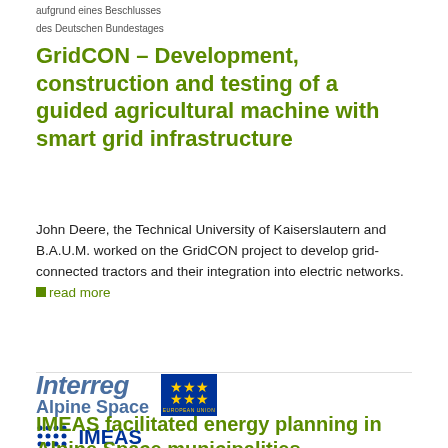aufgrund eines Beschlusses des Deutschen Bundestages
GridCON – Development, construction and testing of a guided agricultural machine with smart grid infrastructure
John Deere, the Technical University of Kaiserslautern and B.A.U.M. worked on the GridCON project to develop grid-connected tractors and their integration into electric networks. read more
[Figure (logo): Interreg Alpine Space logo with EU flag and IMEAS logo with European Regional Development Fund text]
IMEAS facilitated energy planning in Alpine Space municipalities